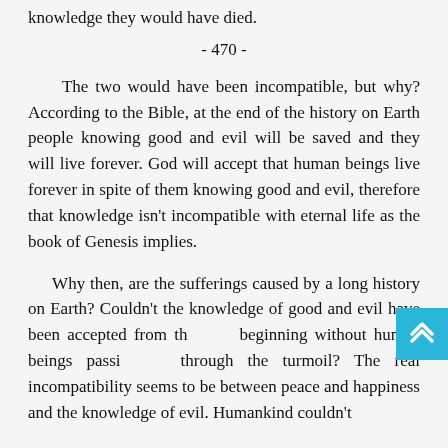knowledge they would have died.
- 470 -
The two would have been incompatible, but why? According to the Bible, at the end of the history on Earth people knowing good and evil will be saved and they will live forever. God will accept that human beings live forever in spite of them knowing good and evil, therefore that knowledge isn't incompatible with eternal life as the book of Genesis implies.
Why then, are the sufferings caused by a long history on Earth? Couldn't the knowledge of good and evil have been accepted from the beginning without human beings passing through the turmoil? The real incompatibility seems to be between peace and happiness and the knowledge of evil. Humankind couldn't